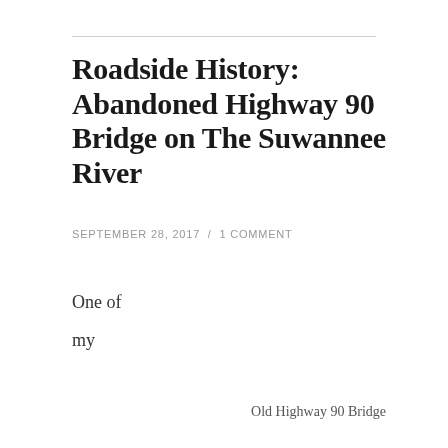Roadside History: Abandoned Highway 90 Bridge on The Suwannee River
SEPTEMBER 28, 2017  /  1 COMMENT
One of
my
Old Highway 90 Bridge